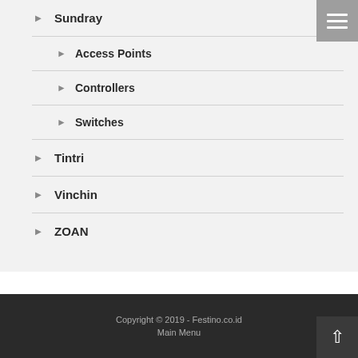Sundray
Access Points
Controllers
Switches
Tintri
Vinchin
ZOAN
Copyright © 2019 - Festino.co.id
Main Menu